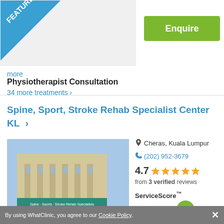[Figure (photo): Featured clinic image placeholder with FEATURED diagonal banner]
Enquire
more
Physiotherapist Consultation
34 more treatments >
Spine, Sport, Stroke Rehab Specialist Center KL
[Figure (photo): Photo of the Spine Sport Stroke Rehab Specialist Center building in Cheras, Kuala Lumpur — a multi-storey building with signage]
Cheras, Kuala Lumpur
(202) 952-3679
4.7
from 3 verified reviews
ServiceScore™
Very Good
7.2
By using WhatClinic, you agree to our Cookie Policy. ×